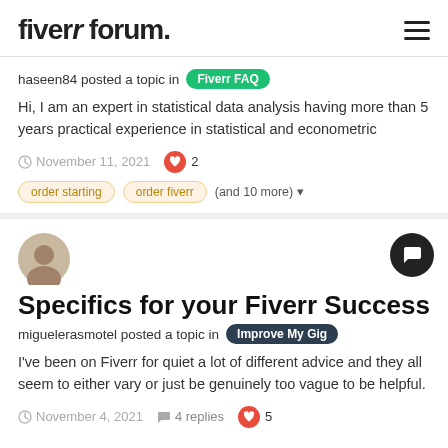fiverr forum.
haseen84 posted a topic in Fiverr FAQ
Hi, I am an expert in statistical data analysis having more than 5 years practical experience in statistical and econometric
November 11, 2021  2  order starting  order fiverr  (and 10 more)
Specifics for your Fiverr Success
miguelerasmotel posted a topic in Improve My Gig
I've been on Fiverr for quiet a lot of different advice and they all seem to either vary or just be genuinely too vague to be helpful.
November 4, 2021  4 replies  5